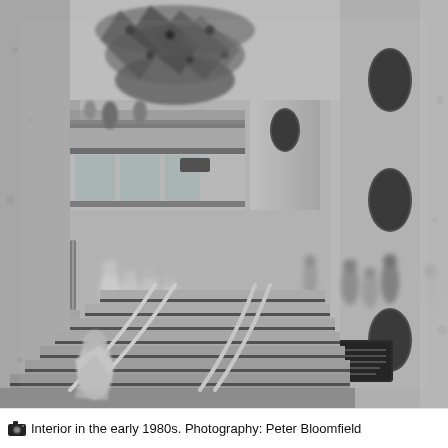[Figure (photo): Black and white photograph of a building interior in the early 1980s, showing a large multi-level atrium with a decorative chandelier or hanging sculpture at the top, concrete columns with oval openings, people milling about on a lower floor, and wide staircases with metal railings descending in the foreground. One person is visible walking up the stairs in the lower portion of the image.]
Interior in the early 1980s. Photography: Peter Bloomfield